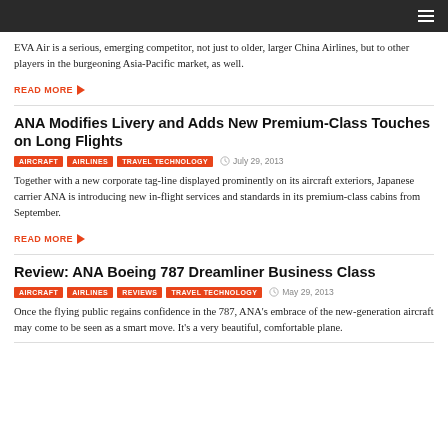EVA Air is a serious, emerging competitor, not just to older, larger China Airlines, but to other players in the burgeoning Asia-Pacific market, as well.
READ MORE
ANA Modifies Livery and Adds New Premium-Class Touches on Long Flights
AIRCRAFT   AIRLINES   TRAVEL TECHNOLOGY   July 29, 2013
Together with a new corporate tag-line displayed prominently on its aircraft exteriors, Japanese carrier ANA is introducing new in-flight services and standards in its premium-class cabins from September.
READ MORE
Review: ANA Boeing 787 Dreamliner Business Class
AIRCRAFT   AIRLINES   REVIEWS   TRAVEL TECHNOLOGY   May 29, 2013
Once the flying public regains confidence in the 787, ANA's embrace of the new-generation aircraft may come to be seen as a smart move. It's a very beautiful, comfortable plane.